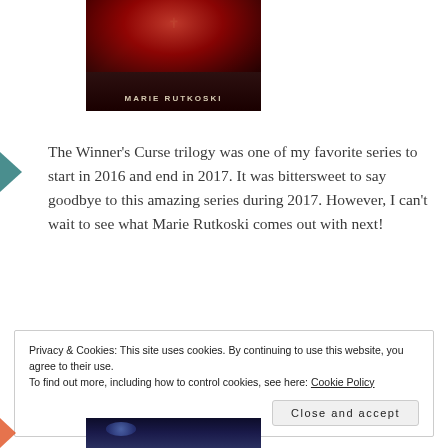[Figure (photo): Book cover of a novel by Marie Rutkoski, showing a dark red/crimson background with a decorative symbol, and the author's name at the bottom in gold/beige lettering.]
The Winner’s Curse trilogy was one of my favorite series to start in 2016 and end in 2017. It was bittersweet to say goodbye to this amazing series during 2017. However, I can’t wait to see what Marie Rutkoski comes out with next!
Privacy & Cookies: This site uses cookies. By continuing to use this website, you agree to their use.
To find out more, including how to control cookies, see here: Cookie Policy
[Figure (photo): Partial view of another book cover at the bottom of the page, showing a blue/space-themed image.]